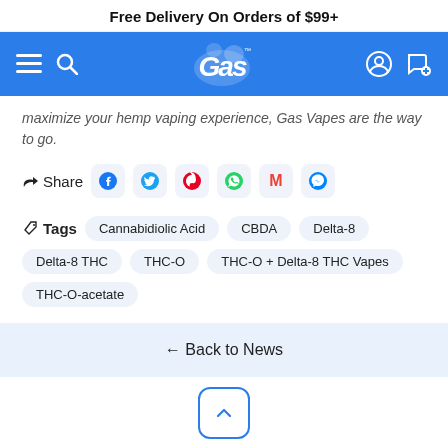Free Delivery On Orders of $99+
[Figure (logo): Gas brand logo - white stylized 'Gas' text with smoke clouds on blue navigation bar background]
maximize your hemp vaping experience, Gas Vapes are the way to go.
Share (social sharing icons: Facebook, Twitter, Pinterest, WhatsApp, Gmail, Messenger)
Tags: Cannabidiolic Acid  CBDA  Delta-8  Delta-8 THC  THC-O  THC-O + Delta-8 THC Vapes  THC-O-acetate
← Back to News
Company